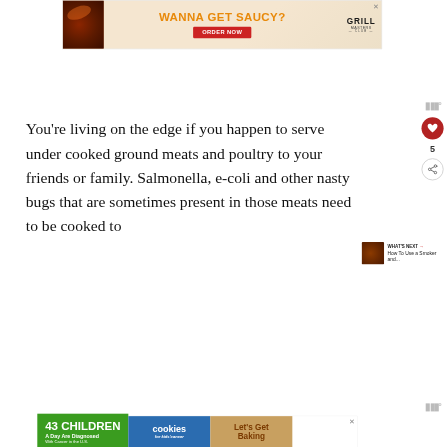[Figure (screenshot): Advertisement banner for Grill Masters Club with grilled meat image, orange text 'WANNA GET SAUCY?', red ORDER NOW button, and Grill Masters Club logo]
You're living on the edge if you happen to serve under cooked ground meats and poultry to your friends or family. Salmonella, e-coli and other nasty bugs that are sometimes present in those meats need to be cooked to
[Figure (screenshot): WHAT'S NEXT panel showing thumbnail and text 'How To Use a Smoker and...']
[Figure (screenshot): Advertisement banner: '43 CHILDREN A Day Are Diagnosed With Cancer in the U.S.' with cookies for kids cancer and Let's Get Baking sections]